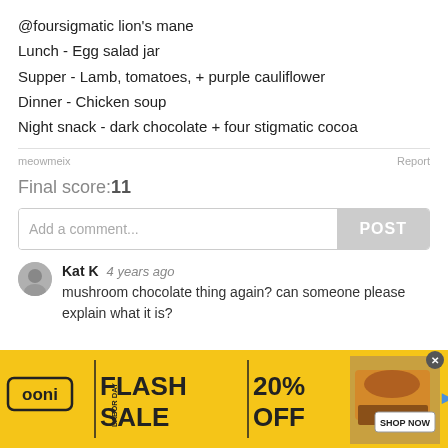@foursigmatic lion's mane
Lunch - Egg salad jar
Supper - Lamb, tomatoes, + purple cauliflower
Dinner - Chicken soup
Night snack - dark chocolate + four stigmatic cocoa
meowmeix
Report
Final score:11
Add a comment...
POST
Kat K  4 years ago
mushroom chocolate thing again? can someone please explain what it is?
[Figure (infographic): Ooni pizza oven advertisement banner: FLASH SALE 20% OFF, LABOR DAY, 12 OVENS, with pizza oven image and SHOP NOW button]